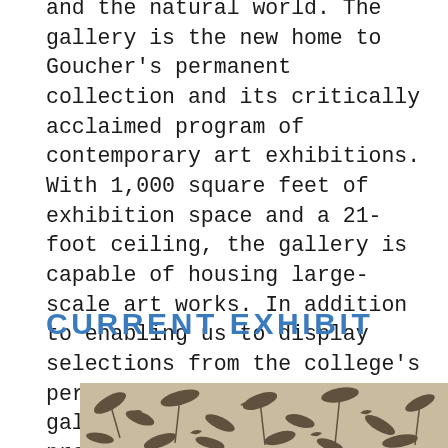and the natural world. The gallery is the new home to Goucher's permanent collection and its critically acclaimed program of contemporary art exhibitions. With 1,000 square feet of exhibition space and a 21-foot ceiling, the gallery is capable of housing large-scale art works. In addition to enabling us to display selections from the college's permanent collection, the gallery hosts a range of programming, from the traditional to the experimental, featuring the work of students, emerging artists, and established names alike.
CURRENT EXHIBIT
[Figure (photo): A partial view of a decorative fabric or wallpaper with dark botanical/bird pattern on a light beige/tan background, showing intricate floral and wildlife motifs.]